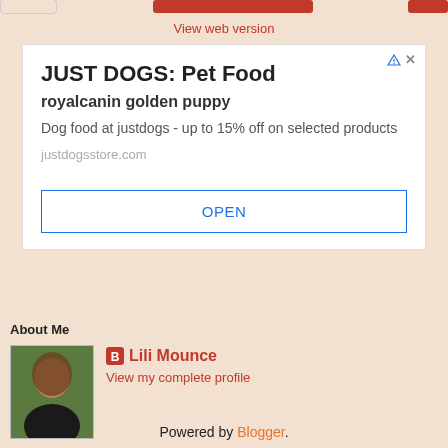View web version
[Figure (screenshot): Advertisement box for JUST DOGS: Pet Food - royalcanin golden puppy - Dog food at justdogs - up to 15% off on selected products - justdogsstore.com - OPEN button]
About Me
[Figure (photo): Profile photo of Lili Mounce, a woman with dark hair]
Lili Mounce
View my complete profile
Powered by Blogger.